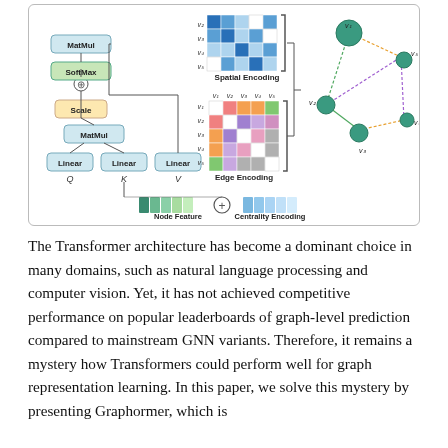[Figure (engineering-diagram): Graphormer architecture diagram showing: left side with Linear layers for Q, K, V, MatMul, Scale, SoftMax, MatMul boxes connected vertically; center shows Spatial Encoding matrix (5x5 blue shaded grid with v2-v5 row labels) and Edge Encoding matrix (5x5 colored grid with v1-v5 labels); right shows a graph with nodes v1-v5 connected by colored edges; bottom shows Node Feature bar (teal/green colored blocks) plus (+) operator plus Centrality Encoding bar (blue blocks).]
The Transformer architecture has become a dominant choice in many domains, such as natural language processing and computer vision. Yet, it has not achieved competitive performance on popular leaderboards of graph-level prediction compared to mainstream GNN variants. Therefore, it remains a mystery how Transformers could perform well for graph representation learning. In this paper, we solve this mystery by presenting Graphormer, which is